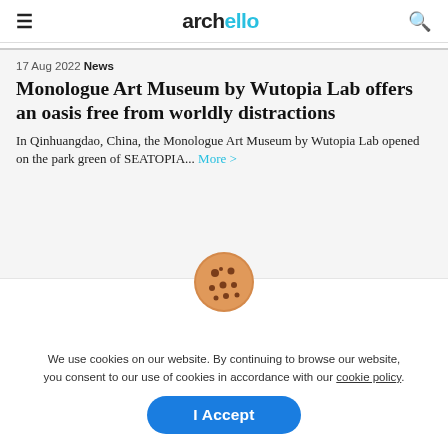archello
17 Aug 2022 News
Monologue Art Museum by Wutopia Lab offers an oasis free from worldly distractions
In Qinhuangdao, China, the Monologue Art Museum by Wutopia Lab opened on the park green of SEATOPIA... More >
[Figure (illustration): Cookie emoji icon — round brown cookie with chocolate chip spots]
We use cookies on our website. By continuing to browse our website, you consent to our use of cookies in accordance with our cookie policy.
I Accept